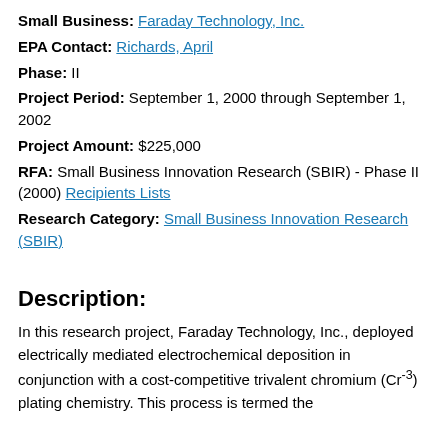Small Business: Faraday Technology, Inc.
EPA Contact: Richards, April
Phase: II
Project Period: September 1, 2000 through September 1, 2002
Project Amount: $225,000
RFA: Small Business Innovation Research (SBIR) - Phase II (2000) Recipients Lists
Research Category: Small Business Innovation Research (SBIR)
Description:
In this research project, Faraday Technology, Inc., deployed electrically mediated electrochemical deposition in conjunction with a cost-competitive trivalent chromium (Cr⁻³) plating chemistry. This process is termed the